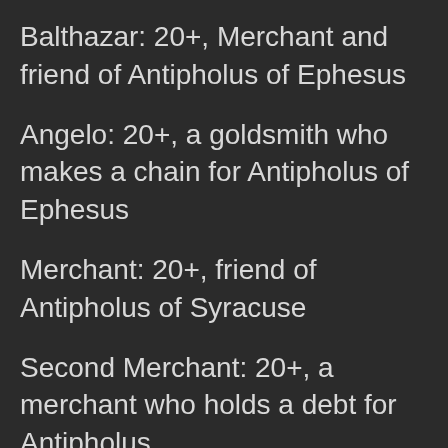Balthazar: 20+, Merchant and friend of Antipholus of Ephesus
Angelo: 20+, a goldsmith who makes a chain for Antipholus of Ephesus
Merchant: 20+, friend of Antipholus of Syracuse
Second Merchant: 20+, a merchant who holds a debt for Antipholus